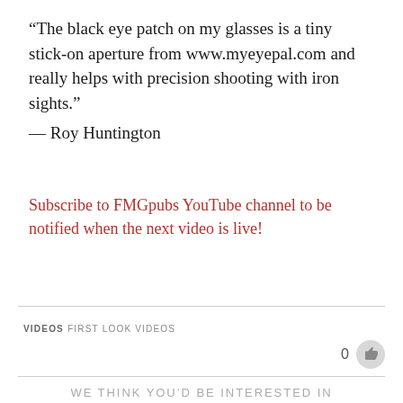“The black eye patch on my glasses is a tiny stick-on aperture from www.myeyepal.com and really helps with precision shooting with iron sights.”
— Roy Huntington
Subscribe to FMGpubs YouTube channel to be notified when the next video is live!
VIDEOS FIRST LOOK VIDEOS
0
WE THINK YOU’D BE INTERESTED IN THIS TOO